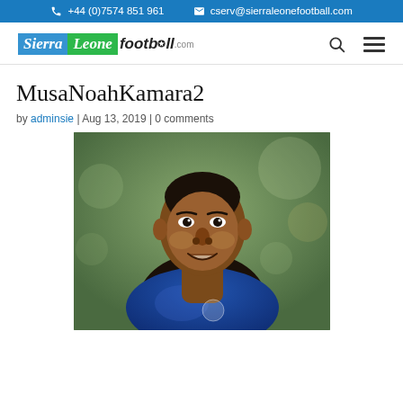+44 (0)7574 851 961  cserv@sierraleonefootball.com
[Figure (logo): Sierra Leone football.com logo with blue and green background segments and italic text]
MusaNoahKamara2
by adminsie | Aug 13, 2019 | 0 comments
[Figure (photo): Photo of Musa Noah Kamara, a young African footballer in a blue jersey, smiling, with a blurred green bokeh background]